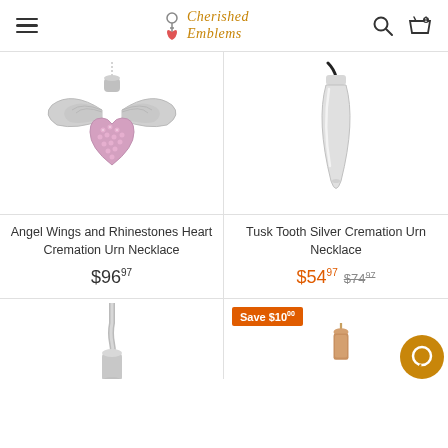Cherished Emblems
[Figure (photo): Angel Wings and Rhinestones Heart Cremation Urn Necklace - silver pendant with pink rhinestone heart and wings on chain]
Angel Wings and Rhinestones Heart Cremation Urn Necklace
$96.97
[Figure (photo): Tusk Tooth Silver Cremation Urn Necklace - silver tusk/tooth shaped pendant on black cord]
Tusk Tooth Silver Cremation Urn Necklace
$54.97 $74.97
[Figure (photo): Bottom left: partial view of a silver necklace chain with small cylindrical pendant]
[Figure (photo): Bottom right: partial view of a rose gold cremation urn necklace with Save $10 badge and chat bubble icon]